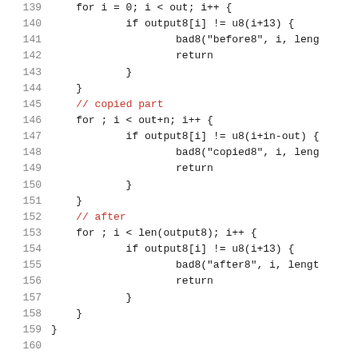Source code listing lines 139-160 showing loop constructs with before, copied, and after sections
139: for i = 0; i < out; i++ {
140:     if output8[i] != u8(i+13) {
141:         bad8("before8", i, leng
142:         return
143:     }
144: }
145: // copied part
146: for ; i < out+n; i++ {
147:     if output8[i] != u8(i+in-out) {
148:         bad8("copied8", i, leng
149:         return
150:     }
151: }
152: // after
153: for ; i < len(output8); i++ {
154:     if output8[i] != u8(i+13) {
155:         bad8("after8", i, length
156:         return
157:     }
158: }
159: }
160: